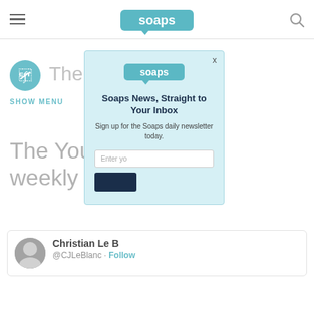soaps.com
[Figure (screenshot): Soaps.com website screenshot with modal newsletter signup popup. Background shows partial page with show circle icon, article title fragment, and tweet card. Modal overlay shows soaps.com logo, headline 'Soaps News, Straight to Your Inbox', subtext 'Sign up for the Soaps daily newsletter today.', email input field, and subscribe button.]
Soaps News, Straight to Your Inbox
Sign up for the Soaps daily newsletter today.
Enter yo...
The You... weekly
Christian Le B... @CJLeBlanc · Follow